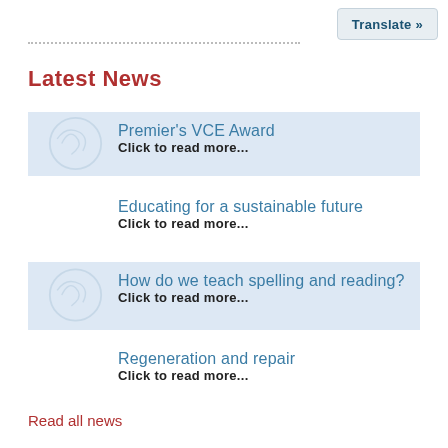Translate »
Latest News
Premier's VCE Award
Click to read more...
Educating for a sustainable future
Click to read more...
How do we teach spelling and reading?
Click to read more...
Regeneration and repair
Click to read more...
Read all news